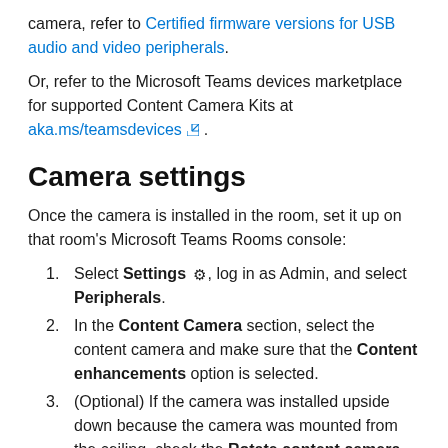camera, refer to Certified firmware versions for USB audio and video peripherals.
Or, refer to the Microsoft Teams devices marketplace for supported Content Camera Kits at aka.ms/teamsdevices.
Camera settings
Once the camera is installed in the room, set it up on that room's Microsoft Teams Rooms console:
Select Settings ⚙, log in as Admin, and select Peripherals.
In the Content Camera section, select the content camera and make sure that the Content enhancements option is selected.
(Optional) If the camera was installed upside down because the camera was mounted from the ceiling, check the Rotate content camera 180° option.